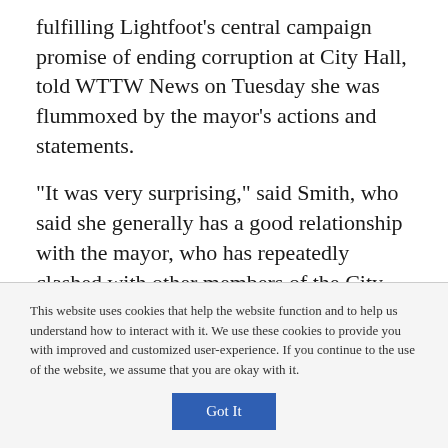fulfilling Lightfoot's central campaign promise of ending corruption at City Hall, told WTTW News on Tuesday she was flummoxed by the mayor's actions and statements.
“It was very surprising,” said Smith, who said she generally has a good relationship with the mayor, who has repeatedly clashed with other members of the City Council. “I don’t know why you would do that, I really don’t.”
This website uses cookies that help the website function and to help us understand how to interact with it. We use these cookies to provide you with improved and customized user-experience. If you continue to the use of the website, we assume that you are okay with it.
Got It